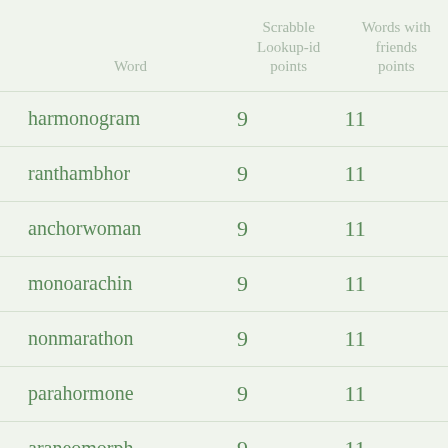| Word | Scrabble Lookup-id points | Words with friends points |
| --- | --- | --- |
| harmonogram | 9 | 11 |
| ranthambhor | 9 | 11 |
| anchorwoman | 9 | 11 |
| monoarachin | 9 | 11 |
| nonmarathon | 9 | 11 |
| parahormone | 9 | 11 |
| araneomorph | 9 | 11 |